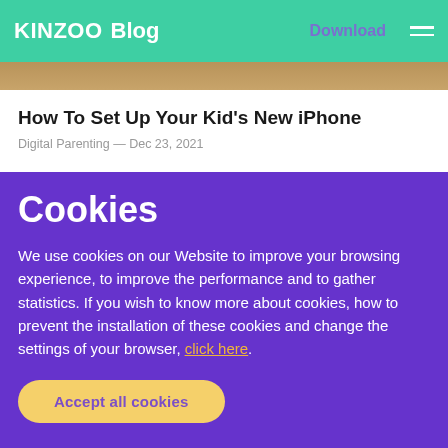KiNZOO Blog | Download
[Figure (photo): Brown wooden background photo strip]
How To Set Up Your Kid's New iPhone
Digital Parenting — Dec 23, 2021
Cookies
We use cookies on our Website to improve your browsing experience, to improve the performance and to gather statistics. If you wish to know more about cookies, how to prevent the installation of these cookies and change the settings of your browser, click here.
Accept all cookies